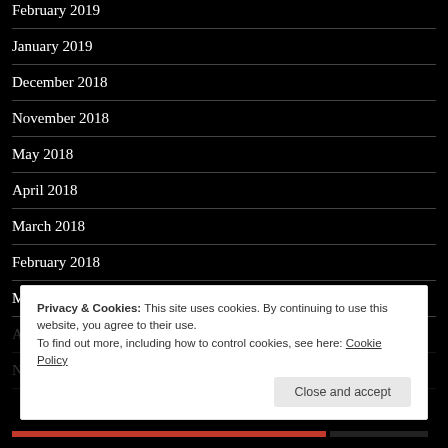February 2019
January 2019
December 2018
November 2018
May 2018
April 2018
March 2018
February 2018
May 2015
Privacy & Cookies: This site uses cookies. By continuing to use this website, you agree to their use.
To find out more, including how to control cookies, see here: Cookie Policy
Close and accept